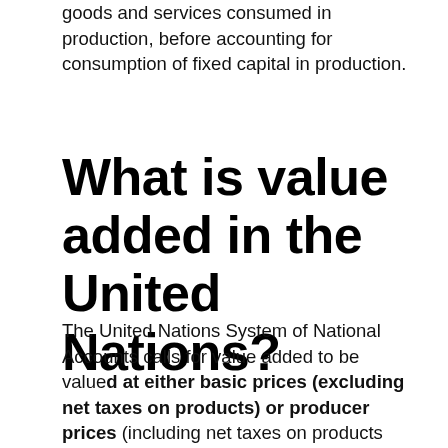goods and services consumed in production, before accounting for consumption of fixed capital in production.
What is value added in the United Nations?
The United Nations System of National Accounts calls for value added to be valued at either basic prices (excluding net taxes on products) or producer prices (including net taxes on products paid by producers but excluding sales or value added taxes).